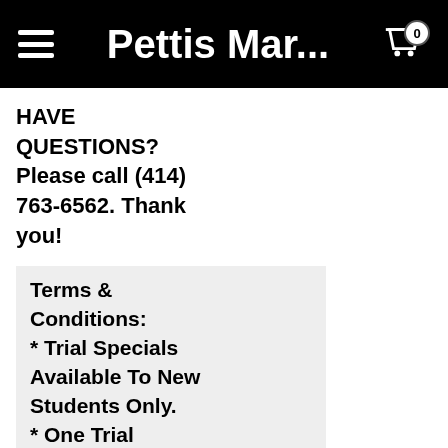Pettis Mar...
HAVE QUESTIONS? Please call (414) 763-6562. Thank you!
Terms & Conditions:
* Trial Specials Available To New Students Only.
* One Trial Special Per Person Please.
* Once a trial is started, the 5